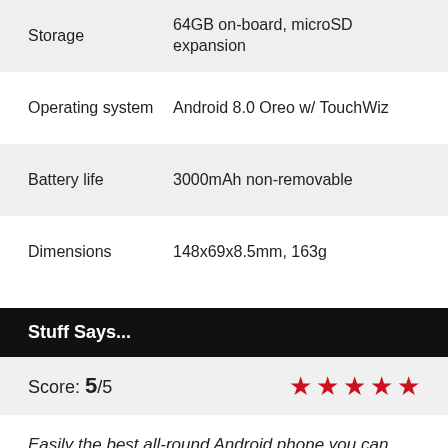| Spec | Value |
| --- | --- |
| Storage | 64GB on-board, microSD expansion |
| Operating system | Android 8.0 Oreo w/ TouchWiz |
| Battery life | 3000mAh non-removable |
| Dimensions | 148x69x8.5mm, 163g |
Stuff Says...
Score: 5/5 ★★★★★
Easily the best all-round Android phone you can buy today